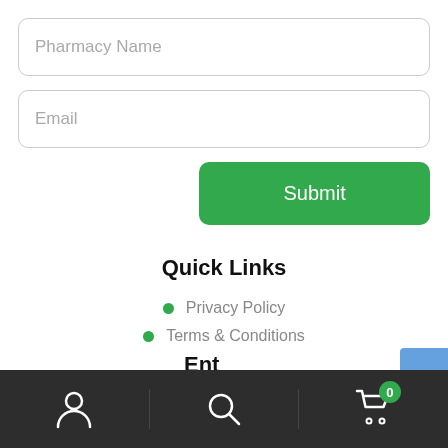Pharmacy Name
Email
Submit
Quick Links
Privacy Policy
Terms & Conditions
Bottom navigation bar with user, search, and cart (0) icons